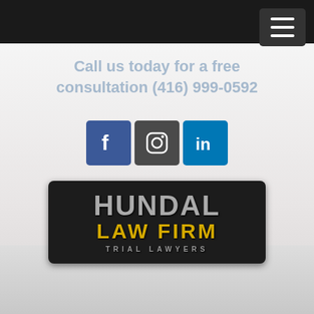Call us today for a free consultation (416) 999-0592
[Figure (logo): Social media icons: Facebook, Instagram, LinkedIn]
[Figure (logo): Hundal Law Firm Trial Lawyers logo — dark rectangular badge with 'HUNDAL' in silver, 'LAW FIRM' in gold, 'TRIAL LAWYERS' in grey below]